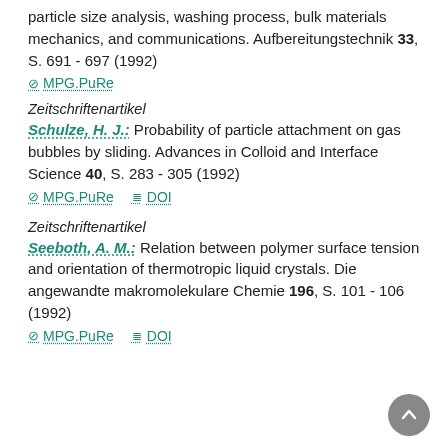particle size analysis, washing process, bulk materials mechanics, and communications. Aufbereitungstechnik 33, S. 691 - 697 (1992)
⊘ MPG.PuRe
Zeitschriftenartikel
Schulze, H. J.: Probability of particle attachment on gas bubbles by sliding. Advances in Colloid and Interface Science 40, S. 283 - 305 (1992)
⊘ MPG.PuRe  ≣ DOI
Zeitschriftenartikel
Seeboth, A. M.: Relation between polymer surface tension and orientation of thermotropic liquid crystals. Die angewandte makromolekulare Chemie 196, S. 101 - 106 (1992)
⊘ MPG.PuRe  ≣ DOI